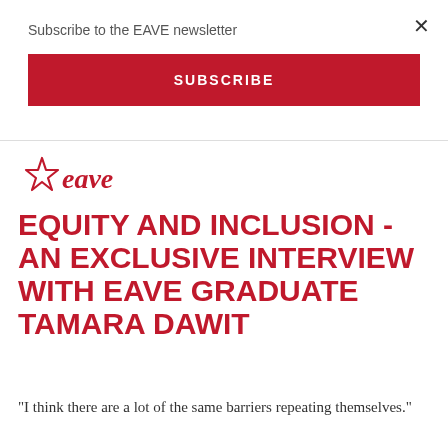Subscribe to the EAVE newsletter
SUBSCRIBE
[Figure (logo): EAVE logo with star outline and cursive eave text in red]
EQUITY AND INCLUSION - AN EXCLUSIVE INTERVIEW WITH EAVE GRADUATE TAMARA DAWIT
"I think there are a lot of the same barriers repeating themselves."
EAVE graduate Tamara Dawit is an Ethiopian-Canadian producer and director. She is based in Toronto and in addition to producing works part time at the Canadian